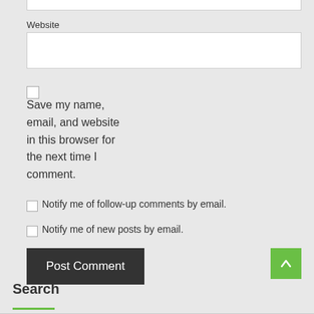Website
Save my name, email, and website in this browser for the next time I comment.
Notify me of follow-up comments by email.
Notify me of new posts by email.
Post Comment
Search